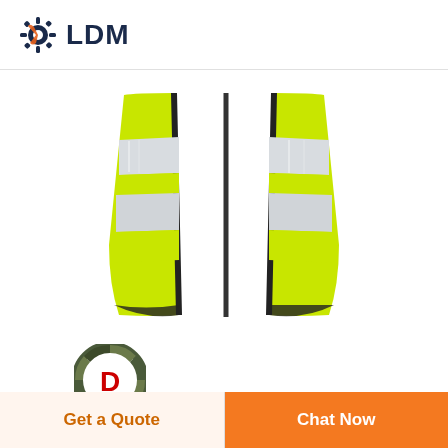[Figure (logo): LDM brand logo with gear icon and text LDM in dark navy]
[Figure (photo): High-visibility safety vest with yellow fluorescent body and silver reflective horizontal stripes, shown from front, folded open]
[Figure (logo): DEEKON brand logo with circular camouflage pattern badge and red D letter, text DEEKON in red below]
[Figure (photo): Partial view of military/tactical helmets in olive green, cropped at bottom of page]
Get a Quote
Chat Now